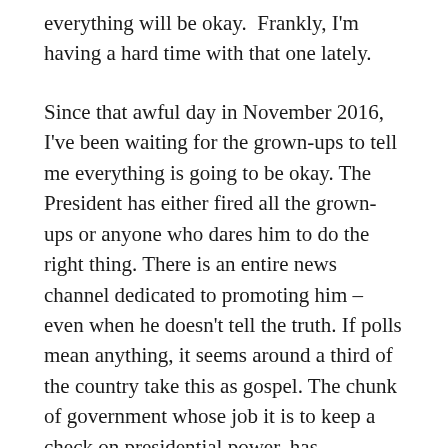everything will be okay.  Frankly, I'm having a hard time with that one lately.
Since that awful day in November 2016, I've been waiting for the grown-ups to tell me everything is going to be okay. The President has either fired all the grown-ups or anyone who dares him to do the right thing. There is an entire news channel dedicated to promoting him – even when he doesn't tell the truth. If polls mean anything, it seems around a third of the country take this as gospel. The chunk of government whose job it is to keep a check on presidential power, has effectively abdicated its responsibility.  Our free press is routinely threatened by the President. The actions of our Attorney General would seem to suggest that he is no longer